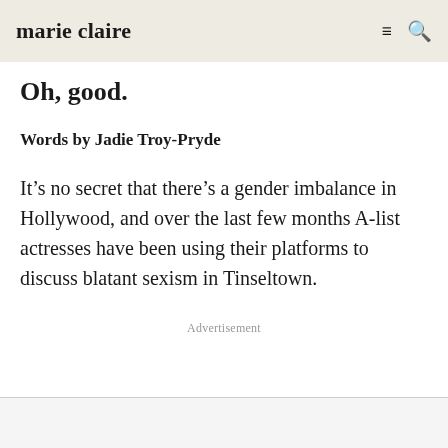marie claire
Oh, good.
Words by Jadie Troy-Pryde
It’s no secret that there’s a gender imbalance in Hollywood, and over the last few months A-list actresses have been using their platforms to discuss blatant sexism in Tinseltown.
Advertisement